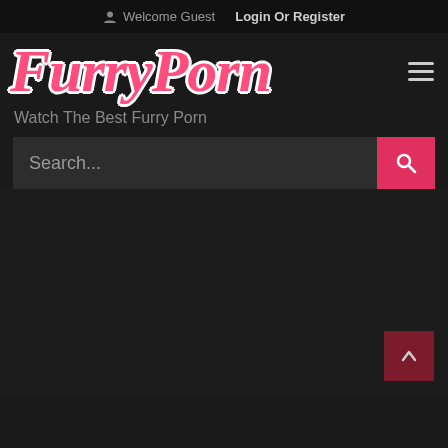Welcome Guest  Login Or Register
[Figure (logo): FurryPorn website logo in pink italic bold script font with white outline on dark background]
Watch The Best Furry Porn
Search...